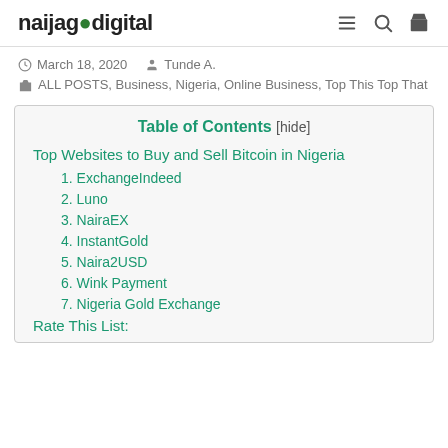naijagodigital
March 18, 2020   Tunde A.
ALL POSTS, Business, Nigeria, Online Business, Top This Top That
| Table of Contents |
| --- |
| Top Websites to Buy and Sell Bitcoin in Nigeria |
| 1. ExchangeIndeed |
| 2. Luno |
| 3. NairaEX |
| 4. InstantGold |
| 5. Naira2USD |
| 6. Wink Payment |
| 7. Nigeria Gold Exchange |
| Rate This List: |